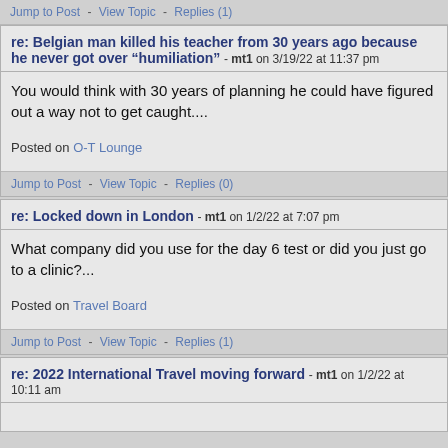Jump to Post  -  View Topic  -  Replies (1)
re: Belgian man killed his teacher from 30 years ago because he never got over “humiliation” - mt1 on 3/19/22 at 11:37 pm
You would think with 30 years of planning he could have figured out a way not to get caught....
Posted on O-T Lounge
Jump to Post  -  View Topic  -  Replies (0)
re: Locked down in London - mt1 on 1/2/22 at 7:07 pm
What company did you use for the day 6 test or did you just go to a clinic?...
Posted on Travel Board
Jump to Post  -  View Topic  -  Replies (1)
re: 2022 International Travel moving forward - mt1 on 1/2/22 at 10:11 am